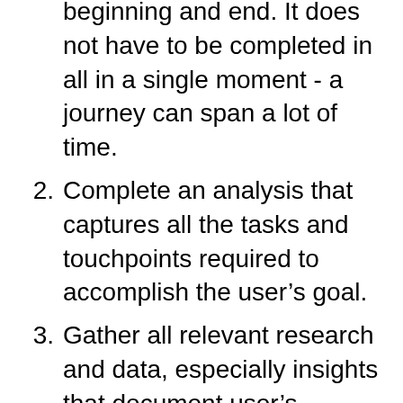beginning and end. It does not have to be completed in all in a single moment - a journey can span a lot of time.
2. Complete an analysis that captures all the tasks and touchpoints required to accomplish the user’s goal.
3. Gather all relevant research and data, especially insights that document user’s frustrations and challenges. Note all of the user’s desires, expectations, and the challenges associated with the task stages. A journey map can be made on assumptions but its much more effective with data - a reason to use assumptions is to leverage the map to encourage the